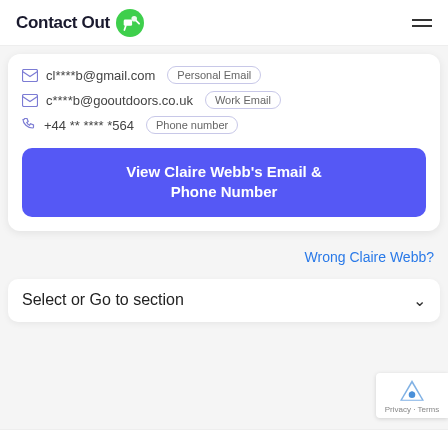Contact Out
cl****b@gmail.com  Personal Email
c****b@gooutdoors.co.uk  Work Email
+44 ** **** *564  Phone number
View Claire Webb's Email & Phone Number
Wrong Claire Webb?
Select or Go to section